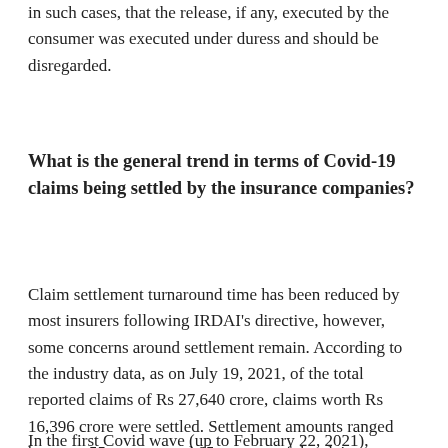in such cases, that the release, if any, executed by the consumer was executed under duress and should be disregarded.
What is the general trend in terms of Covid-19 claims being settled by the insurance companies?
Claim settlement turnaround time has been reduced by most insurers following IRDAI's directive, however, some concerns around settlement remain. According to the industry data, as on July 19, 2021, of the total reported claims of Rs 27,640 crore, claims worth Rs 16,396 crore were settled. Settlement amounts ranged between 55 per cent and 65 per cent of the claim.
In the first Covid wave (up to February 22, 2021),